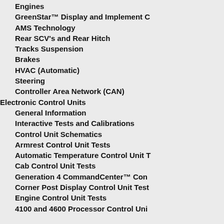Engines
GreenStar™ Display and Implement C…
AMS Technology
Rear SCV's and Rear Hitch
Tracks Suspension
Brakes
HVAC (Automatic)
Steering
Controller Area Network (CAN)
Electronic Control Units
General Information
Interactive Tests and Calibrations
Control Unit Schematics
Armrest Control Unit Tests
Automatic Temperature Control Unit T…
Cab Control Unit Tests
Generation 4 CommandCenter™ Con…
Corner Post Display Control Unit Test…
Engine Control Unit Tests
4100 and 4600 Processor Control Uni…